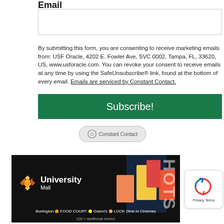Email
By submitting this form, you are consenting to receive marketing emails from: USF Oracle, 4202 E. Fowler Ave, SVC 0002, Tampa, FL, 33620, US, www.usforacle.com. You can revoke your consent to receive emails at any time by using the SafeUnsubscribe® link, found at the bottom of every email. Emails are serviced by Constant Contact.
[Figure (other): Green Subscribe! button]
[Figure (logo): Constant Contact badge/logo button]
[Figure (illustration): University Mall advertisement banner with shopping bags image, Burlington, FOOD COURT, Grand's, LOOK Dine-In Cinemas, 100+ additional stores!]
[Figure (other): Privacy/Terms reCAPTCHA-style badge in bottom right corner]